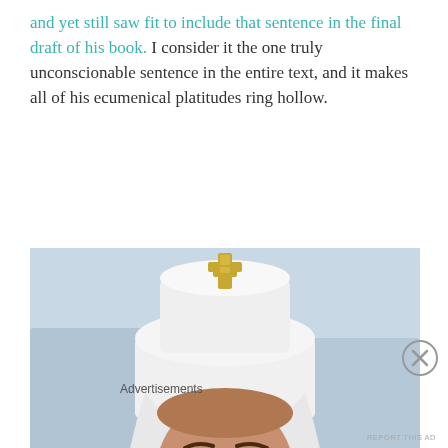and yet still saw fit to include that sentence in the final draft of his book. I consider it the one truly unconscionable sentence in the entire text, and it makes all of his ecumenical platitudes ring hollow.
[Figure (photo): An Orthodox Christian bishop or metropolitan wearing a white klobuk (tall cylindrical hat with veil) adorned with a gold cross at the top, dressed in black vestments with a chain/panagia, with a dark beard, seated at what appears to be a conference table with a microphone visible in the background.]
Advertisements